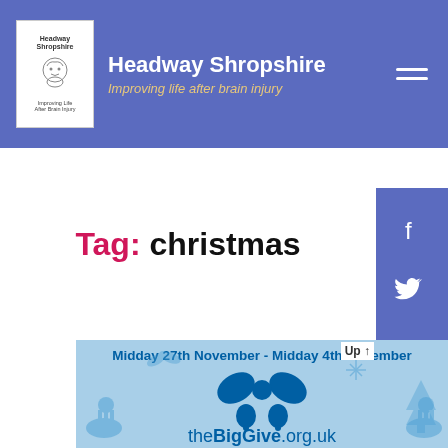Headway Shropshire — Improving life after brain injury
Tag: christmas
[Figure (illustration): Social media sidebar with Facebook, Twitter, email, and Instagram icons on a blue background]
[Figure (illustration): Big Give Christmas banner showing 'Midday 27th November - Midday 4th December' with theBigGive.org.uk logo and Christmas decorations on a light blue background]